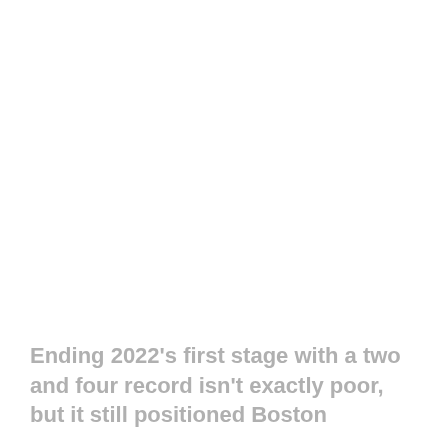Ending 2022's first stage with a two and four record isn't exactly poor, but it still positioned Boston